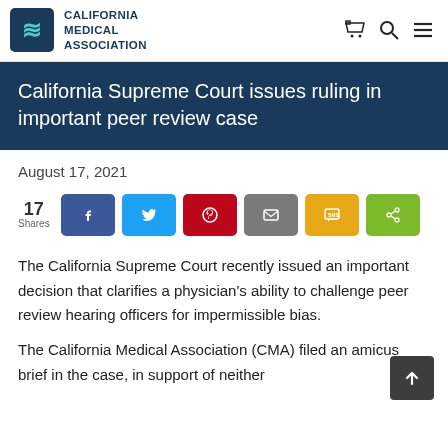California Medical Association
California Supreme Court issues ruling in important peer review case
August 17, 2021
[Figure (infographic): Social share bar showing 17 Shares with buttons for Facebook, Twitter, Pinterest, Email, SMS, and Share]
The California Supreme Court recently issued an important decision that clarifies a physician's ability to challenge peer review hearing officers for impermissible bias.
The California Medical Association (CMA) filed an amicus brief in the case, in support of neither